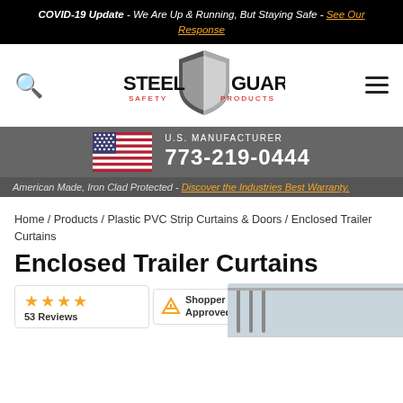COVID-19 Update - We Are Up & Running, But Staying Safe - See Our Response
[Figure (logo): SteelGuard Safety Products shield logo with text]
[Figure (infographic): US Manufacturer contact bar with American flag and phone number 773-219-0444]
American Made, Iron Clad Protected - Discover the Industries Best Warranty.
Home / Products / Plastic PVC Strip Curtains & Doors / Enclosed Trailer Curtains
Enclosed Trailer Curtains
[Figure (other): Shopper Approved badge with 4 stars and 53 Reviews]
[Figure (photo): Partial product image of enclosed trailer curtains]